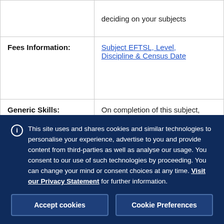|  | deciding on your subjects |
| Fees Information: | Subject EFTSL, Level, Discipline & Census Date |
| Generic Skills: | On completion of this subject, students should have developed their: |
This site uses and shares cookies and similar technologies to personalise your experience, advertise to you and provide content from third-parties as well as analyse our usage. You consent to our use of such technologies by proceeding. You can change your mind or consent choices at any time. Visit our Privacy Statement for further information.
Accept cookies
Cookie Preferences